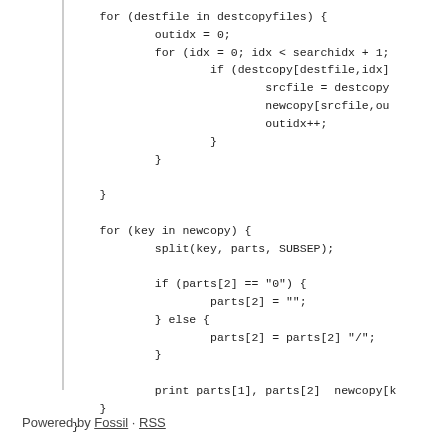for (destfile in destcopyfiles) {
        outidx = 0;
        for (idx = 0; idx < searchidx + 1;
                if (destcopy[destfile,idx]
                        srcfile = destcopy
                        newcopy[srcfile,ou
                        outidx++;
                }
        }

}

for (key in newcopy) {
        split(key, parts, SUBSEP);

        if (parts[2] == "0") {
                parts[2] = "";
        } else {
                parts[2] = parts[2] "/";
        }

        print parts[1], parts[2]  newcopy[k
}
}
Powered by Fossil · RSS